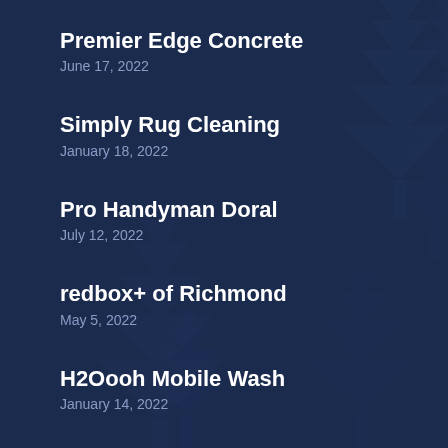Premier Edge Concrete
June 17, 2022
Simply Rug Cleaning
January 18, 2022
Pro Handyman Doral
July 12, 2022
redbox+ of Richmond
May 5, 2022
H2Oooh Mobile Wash
January 14, 2022